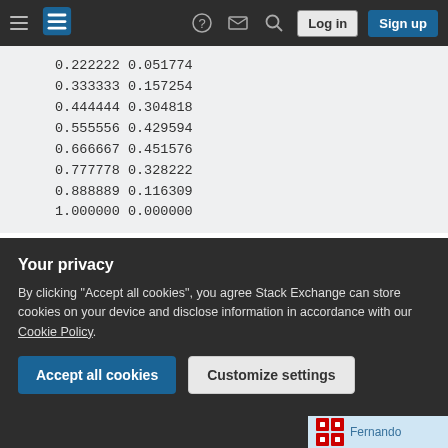Stack Exchange navigation bar with Log in and Sign up buttons
0.222222 0.051774
0.333333 0.157254
0.444444 0.304818
0.555556 0.429594
0.666667 0.451576
0.777778 0.328222
0.888889 0.116309
1.000000 0.000000
I'm using Python, and i can post the code if needed! Thanks for your help!
Your privacy
By clicking "Accept all cookies", you agree Stack Exchange can store cookies on your device and disclose information in accordance with our Cookie Policy.